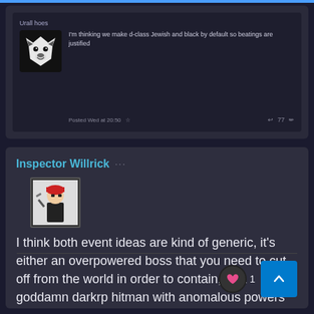[Figure (screenshot): First forum post from user 'Urall hoes' with wolf avatar and hateful text]
Urall hoes
I'm thinking we make d-class Jewish and black by default so beatings are justified
Posted Wed at 20:50
Inspector Willrick
[Figure (screenshot): Second forum post from Inspector Willrick with avatar image]
I think both event ideas are kind of generic, it's either an overpowered boss that you need to cut off from the world in order to contain, or a goddamn darkrp hitman with anomalous powers